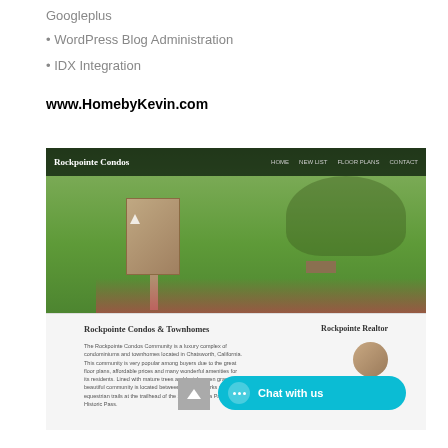Googleplus
• WordPress Blog Administration
• IDX Integration
www.HomebyKevin.com
[Figure (screenshot): Screenshot of Rockpointe Condos website showing a photo of a residential sign in a green lawn with flowers, navigation bar at top reading 'Rockpointe Condos', and website content below showing 'Rockpointe Condos & Townhomes' heading and descriptive text about the community in Chatsworth, California, along with a Rockpointe Realtor section. A cyan 'Chat with us' button and a gray scroll-up button are visible overlaid on the screenshot.]